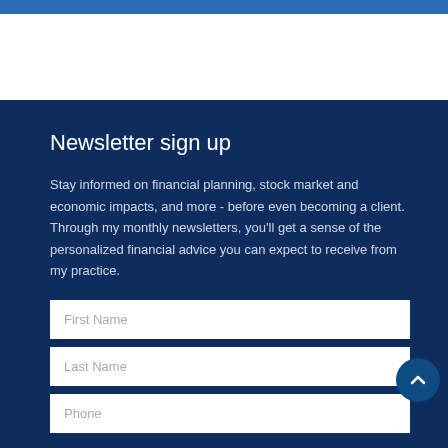Newsletter sign up
Stay informed on financial planning, stock market and economic impacts, and more - before even becoming a client. Through my monthly newsletters, you'll get a sense of the personalized financial advice you can expect to receive from my practice.
First Name
Last Name
Phone